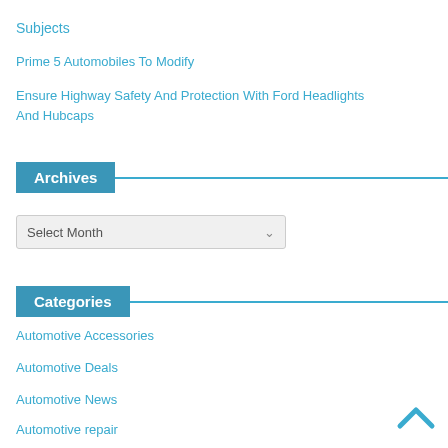Subjects
Prime 5 Automobiles To Modify
Ensure Highway Safety And Protection With Ford Headlights And Hubcaps
Archives
Select Month
Categories
Automotive Accessories
Automotive Deals
Automotive News
Automotive repair